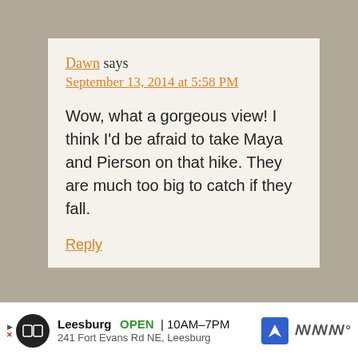Dawn says
September 13, 2014 at 5:58 PM
Wow, what a gorgeous view! I think I'd be afraid to take Maya and Pierson on that hike. They are much too big to catch if they fall.
Reply
Leesburg  OPEN  10AM–7PM  241 Fort Evans Rd NE, Leesburg